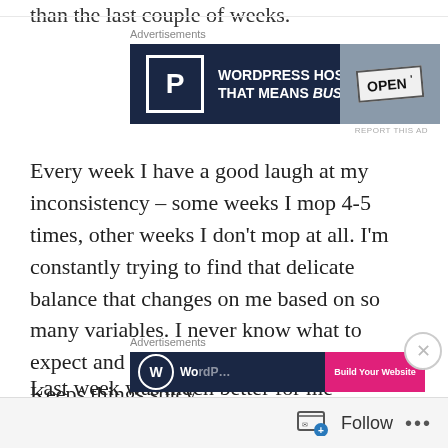than the last couple of weeks.
[Figure (screenshot): WordPress Hosting advertisement banner with dark navy background, 'P' logo, text 'WORDPRESS HOSTING THAT MEANS BUSINESS.' and an 'OPEN' sign photo on the right]
Every week I have a good laugh at my inconsistency – some weeks I mop 4-5 times, other weeks I don't mop at all. I'm constantly trying to find that delicate balance that changes on me based on so many variables. I never know what to expect and that's usually a good thing! Keeps things spicy.
Last week was much better for me
[Figure (screenshot): WordPress advertisement banner at bottom of page, partially visible]
Follow ...